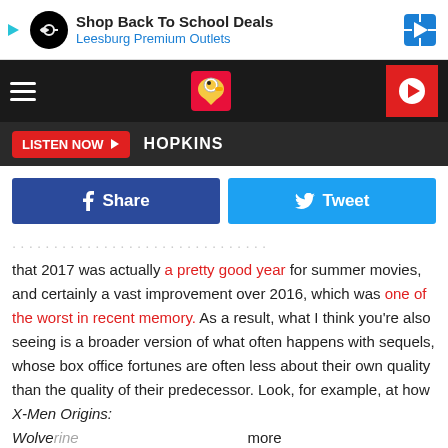[Figure (screenshot): Ad banner: Shop Back To School Deals, Leesburg Premium Outlets with navigation icon]
[Figure (screenshot): Navigation bar with hamburger menu, eagle mascot logo, and red play button]
[Figure (screenshot): Listen Now bar with HOPKINS label]
[Figure (screenshot): Social sharing buttons: Facebook Share and Twitter Tweet]
that 2017 was actually a pretty good year for summer movies, and certainly a vast improvement over 2016, which was one of the worst in recent memory. As a result, what I think you’re also seeing is a broader version of what often happens with sequels, whose box office fortunes are often less about their own quality than the quality of their predecessor. Look, for example, at how X-Men Origins: Wolverine more than T
[Figure (screenshot): Bottom ad banner: Shop Back To School Deals, Leesburg Premium Outlets]